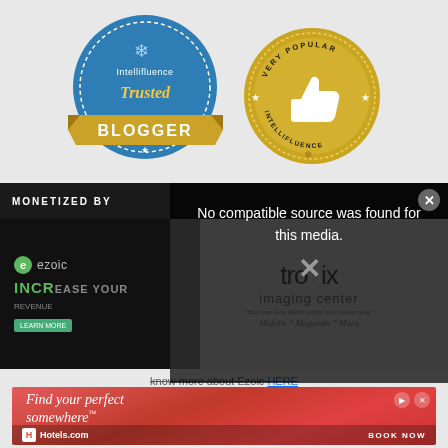[Figure (logo): Intellifluence Trusted Blogger badge - blue circular badge with gold banner reading BLOGGER]
[Figure (logo): Intellifluence Very Popular badge - gold circular badge with thumbs up icon]
[Figure (screenshot): Monetized by banner, Ezoic ad content area, Tronix imaging center logo partially visible, media error overlay reading 'No compatible source was found for this media.', Hotels.com advertisement with 'Find your perfect somewhere' and BOOK NOW]